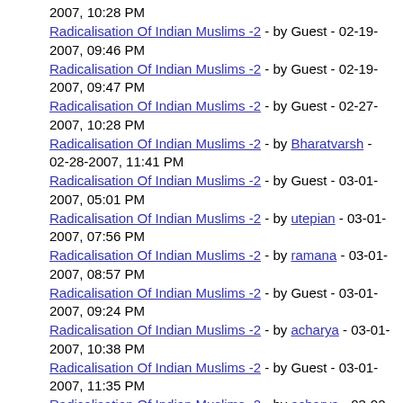2007, 10:28 PM
Radicalisation Of Indian Muslims -2 - by Guest - 02-19-2007, 09:46 PM
Radicalisation Of Indian Muslims -2 - by Guest - 02-19-2007, 09:47 PM
Radicalisation Of Indian Muslims -2 - by Guest - 02-27-2007, 10:28 PM
Radicalisation Of Indian Muslims -2 - by Bharatvarsh - 02-28-2007, 11:41 PM
Radicalisation Of Indian Muslims -2 - by Guest - 03-01-2007, 05:01 PM
Radicalisation Of Indian Muslims -2 - by utepian - 03-01-2007, 07:56 PM
Radicalisation Of Indian Muslims -2 - by ramana - 03-01-2007, 08:57 PM
Radicalisation Of Indian Muslims -2 - by Guest - 03-01-2007, 09:24 PM
Radicalisation Of Indian Muslims -2 - by acharya - 03-01-2007, 10:38 PM
Radicalisation Of Indian Muslims -2 - by Guest - 03-01-2007, 11:35 PM
Radicalisation Of Indian Muslims -2 - by acharya - 03-02-2007, 06:22 AM
Radicalisation Of Indian Muslims -2 - by Guest - 03-02-2007, 09:03 AM